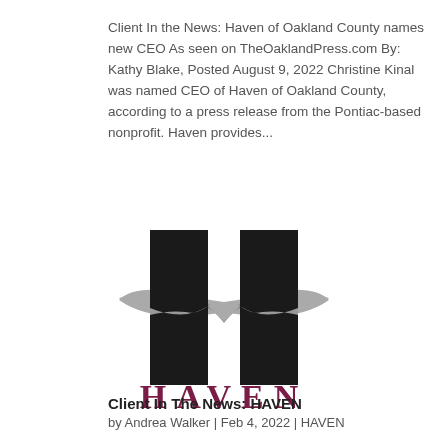Client In the News: Haven of Oakland County names new CEO As seen on TheOaklandPress.com By: Kathy Blake, Posted August 9, 2022 Christine Kinal was named CEO of Haven of Oakland County, according to a press release from the Pontiac-based nonprofit. Haven provides...
[Figure (logo): Haven of Oakland County logo: stylized letter H in black with a gray elliptical ring/ribbon through the middle forming a heart shape, and the word HAVEN in dark maroon/burgundy below]
Client In The News: HAVEN
by Andrea Walker | Feb 4, 2022 | HAVEN